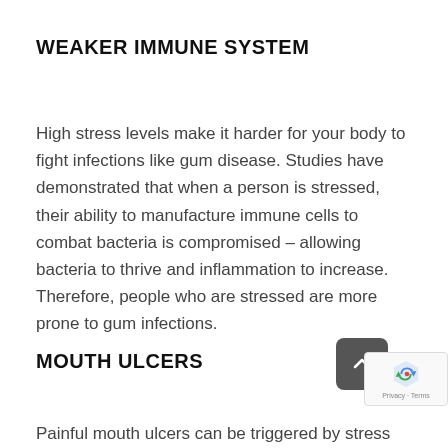WEAKER IMMUNE SYSTEM
High stress levels make it harder for your body to fight infections like gum disease. Studies have demonstrated that when a person is stressed, their ability to manufacture immune cells to combat bacteria is compromised – allowing bacteria to thrive and inflammation to increase. Therefore, people who are stressed are more prone to gum infections.
MOUTH ULCERS
Painful mouth ulcers can be triggered by stress as well